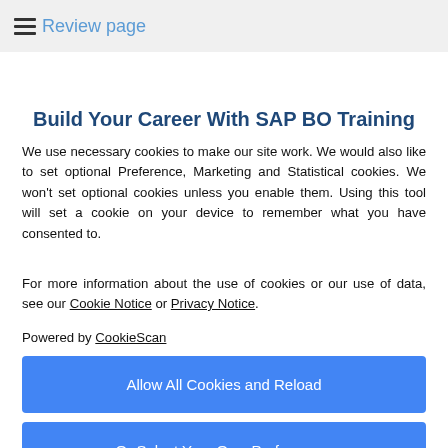Review page
Build Your Career With SAP BO Training
We use necessary cookies to make our site work. We would also like to set optional Preference, Marketing and Statistical cookies. We won't set optional cookies unless you enable them. Using this tool will set a cookie on your device to remember what you have consented to.
For more information about the use of cookies or our use of data, see our Cookie Notice or Privacy Notice.
Powered by CookieScan
Allow All Cookies and Reload
Or Select Your Own Preferences